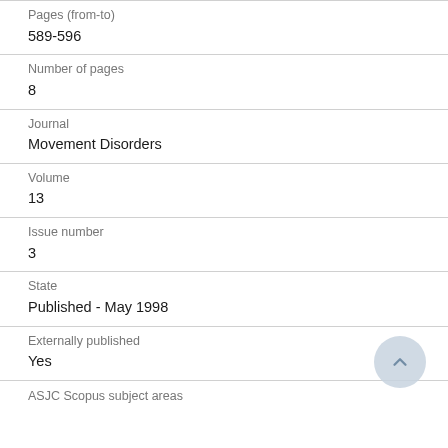Pages (from-to)
589-596
Number of pages
8
Journal
Movement Disorders
Volume
13
Issue number
3
State
Published - May 1998
Externally published
Yes
ASJC Scopus subject areas